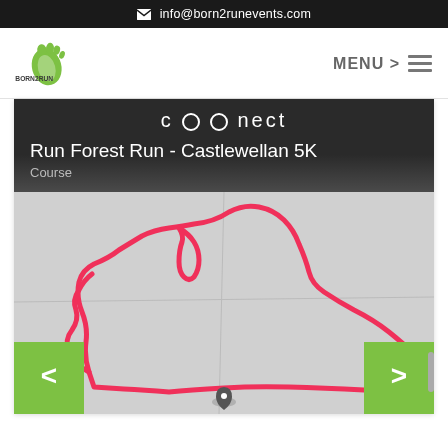info@born2runevents.com
[Figure (logo): Born2Run logo with running shoe footprint in green]
MENU >
[Figure (infographic): Garmin Connect course map showing 'Run Forest Run - Castlewellan 5K' course with a pink/red route traced on a grey map background. Left and right navigation arrows on green buttons at bottom.]